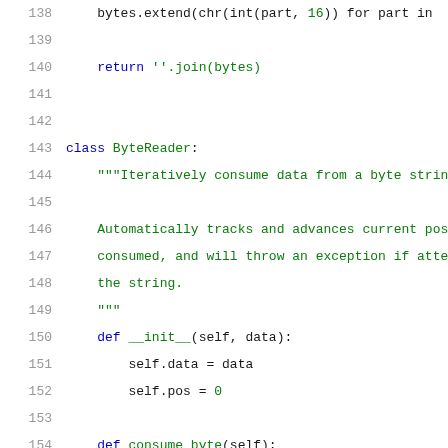138     bytes.extend(chr(int(part, 16)) for part in
139
140     return ''.join(bytes)
141
142
143 class ByteReader:
144     """Iteratively consume data from a byte strin
145
146     Automatically tracks and advances current pos
147     consumed, and will throw an exception if atte
148     the string.
149     """
150     def __init__(self, data):
151         self.data = data
152         self.pos = 0
153
154     def consume_byte(self):
155         i = ord(self.data[self.pos])
156         self.pos += 1
157         return i
158
159     def consume_int24(self):